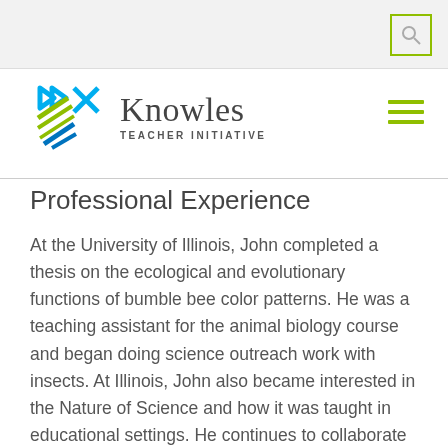[Figure (logo): Knowles Teacher Initiative logo with colorful X/K symbol and text]
Professional Experience
At the University of Illinois, John completed a thesis on the ecological and evolutionary functions of bumble bee color patterns. He was a teaching assistant for the animal biology course and began doing science outreach work with insects. At Illinois, John also became interested in the Nature of Science and how it was taught in educational settings. He continues to collaborate on various Nature of Science